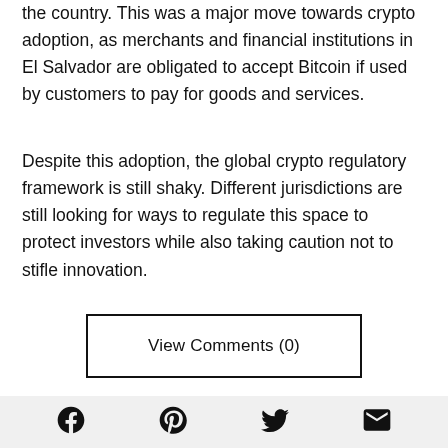the country. This was a major move towards crypto adoption, as merchants and financial institutions in El Salvador are obligated to accept Bitcoin if used by customers to pay for goods and services.
Despite this adoption, the global crypto regulatory framework is still shaky. Different jurisdictions are still looking for ways to regulate this space to protect investors while also taking caution not to stifle innovation.
View Comments (0)
Related Articles
[Figure (other): Social media share icons: Facebook, Pinterest, Twitter, Email]